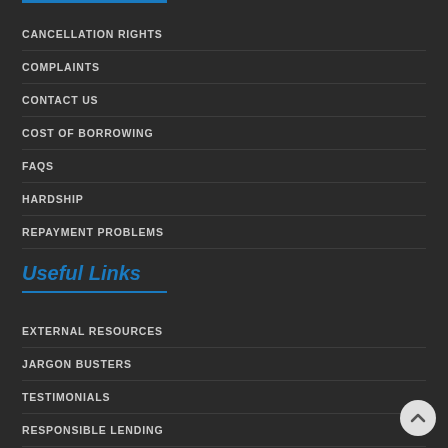CANCELLATION RIGHTS
COMPLAINTS
CONTACT US
COST OF BORROWING
FAQS
HARDSHIP
REPAYMENT PROBLEMS
Useful Links
EXTERNAL RESOURCES
JARGON BUSTERS
TESTIMONIALS
RESPONSIBLE LENDING